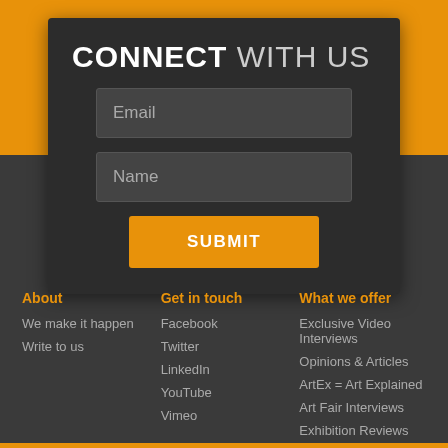CONNECT WITH US
Email
Name
SUBMIT
About
We make it happen
Write to us
Get in touch
Facebook
Twitter
LinkedIn
YouTube
Vimeo
What we offer
Exclusive Video Interviews
Opinions & Articles
ArtEx = Art Explained
Art Fair Interviews
Exhibition Reviews